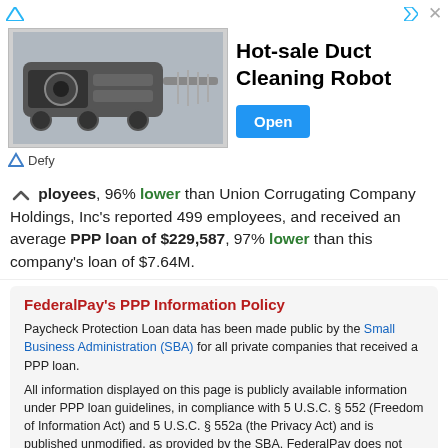[Figure (screenshot): Advertisement banner for Hot-sale Duct Cleaning Robot by Defy, with an image of the robot, title text, and an Open button]
ployees, 96% lower than Union Corrugating Company Holdings, Inc's reported 499 employees, and received an average PPP loan of $229,587, 97% lower than this company's loan of $7.64M.
FederalPay's PPP Information Policy
Paycheck Protection Loan data has been made public by the Small Business Administration (SBA) for all private companies that received a PPP loan.
All information displayed on this page is publicly available information under PPP loan guidelines, in compliance with 5 U.S.C. § 552 (Freedom of Information Act) and 5 U.S.C. § 552a (the Privacy Act) and is published unmodified, as provided by the SBA. FederalPay does not modify the data and makes no claims regarding its accuracy.